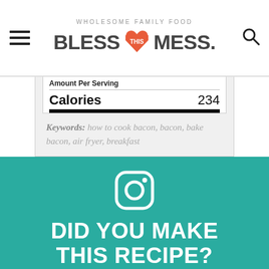WHOLESOME FAMILY FOOD — BLESS THIS MESS
| Amount Per Serving |  |
| --- | --- |
| Calories | 234 |
Keywords: how to cook bacon, bacon, bake bacon, air fryer, breakfast
[Figure (logo): Instagram icon (rounded square with circle and dot)]
DID YOU MAKE THIS RECIPE?
Tag @blessthismessblog on Instagram and hashtag it #blessmess